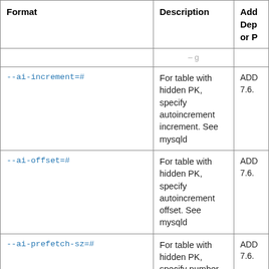| Format | Description | Add Dep or P |
| --- | --- | --- |
| --ai-increment=# | For table with hidden PK, specify autoincrement increment. See mysqld | ADD 7.6. |
| --ai-offset=# | For table with hidden PK, specify autoincrement offset. See mysqld | ADD 7.6. |
| --ai-prefetch-sz=# | For table with hidden PK, specify number of autoincrement values that are prefetched. See mysqld | ADD 7.6. |
| --character-sets-dir=path | Directory containing character sets | ADD 7.6. |
| --connect-retries=# | Number of times to... | (Su... |